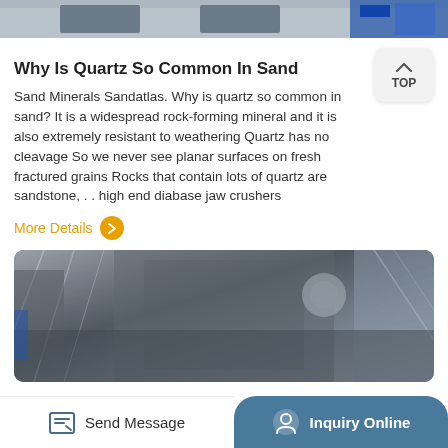[Figure (photo): Top partial image of industrial machinery with blue and grey tones]
Why Is Quartz So Common In Sand
Sand Minerals Sandatlas. Why is quartz so common in sand? It is a widespread rock-forming mineral and it is also extremely resistant to weathering Quartz has no cleavage So we never see planar surfaces on fresh fractured grains Rocks that contain lots of quartz are sandstone, . . high end diabase jaw crushers
More Details
[Figure (photo): Industrial factory floor with heavy metal jaw crusher equipment, steel frames and structures visible]
Send Message   Inquiry Online